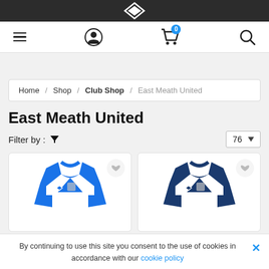Umbro navigation bar with logo
[Figure (screenshot): Navigation icon bar with hamburger menu, user icon, shopping cart with badge showing 0, and search icon]
Home / Shop / Club Shop / East Meath United
East Meath United
Filter by : ▼   76 ▼
[Figure (photo): Blue and white Umbro football jersey with East Meath United badge]
[Figure (photo): Dark navy and white Umbro football jersey with East Meath United badge]
By continuing to use this site you consent to the use of cookies in accordance with our cookie policy